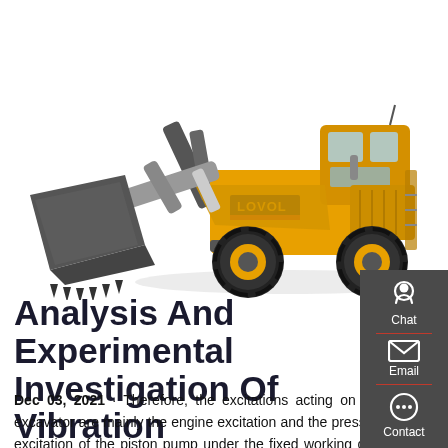[Figure (photo): Yellow LOVOL wheel loader (front loader) on a white background, with a large bucket attachment. Partially overlaid by a dark grey sidebar on the right.]
Analysis And Experimental Investigation Of Vibration
Dec 03, 2021 · Therefore, the excitations acting on the hydraulic excavator are mainly the engine excitation and the pressure pulsation excitation of the piston pump under the fixed working condition, that is, the sources of excitations are all from the